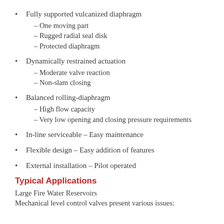Fully supported vulcanized diaphragm – One moving part – Rugged radial seal disk – Protected diaphragm
Dynamically restrained actuation – Moderate valve reaction – Non-slam closing
Balanced rolling-diaphragm – High flow capacity – Very low opening and closing pressure requirements
In-line serviceable – Easy maintenance
Flexible design – Easy addition of features
External installation – Pilot operated
Typical Applications
Large Fire Water Reservoirs
Mechanical level control valves present various issues: